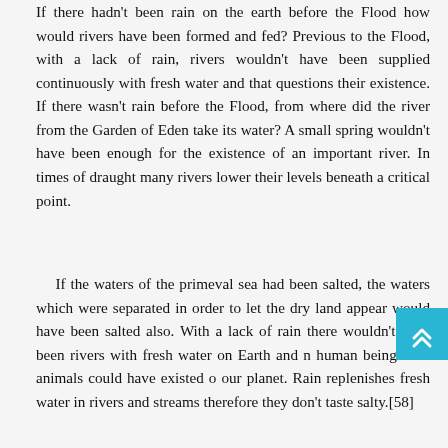If there hadn't been rain on the earth before the Flood how would rivers have been formed and fed? Previous to the Flood, with a lack of rain, rivers wouldn't have been supplied continuously with fresh water and that questions their existence. If there wasn't rain before the Flood, from where did the river from the Garden of Eden take its water? A small spring wouldn't have been enough for the existence of an important river. In times of draught many rivers lower their levels beneath a critical point.
If the waters of the primeval sea had been salted, the waters which were separated in order to let the dry land appear would have been salted also. With a lack of rain there wouldn't have been rivers with fresh water on Earth and no human beings and animals could have existed on our planet. Rain replenishes fresh water in rivers and streams therefore they don't taste salty.[58]